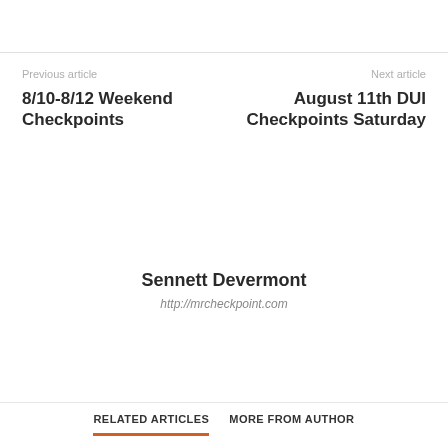Previous article
8/10-8/12 Weekend Checkpoints
Next article
August 11th DUI Checkpoints Saturday
Sennett Devermont
http://mrcheckpoint.com
RELATED ARTICLES
MORE FROM AUTHOR